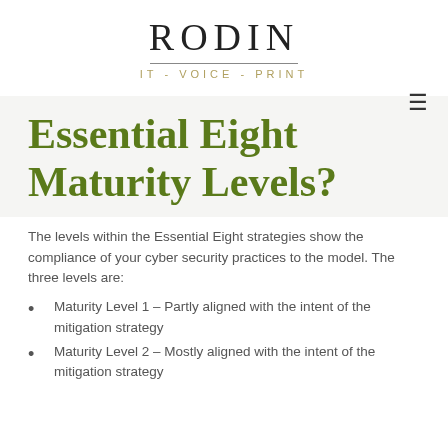RODIN
IT - VOICE - PRINT
Essential Eight Maturity Levels?
The levels within the Essential Eight strategies show the compliance of your cyber security practices to the model. The three levels are:
Maturity Level 1 – Partly aligned with the intent of the mitigation strategy
Maturity Level 2 – Mostly aligned with the intent of the mitigation strategy